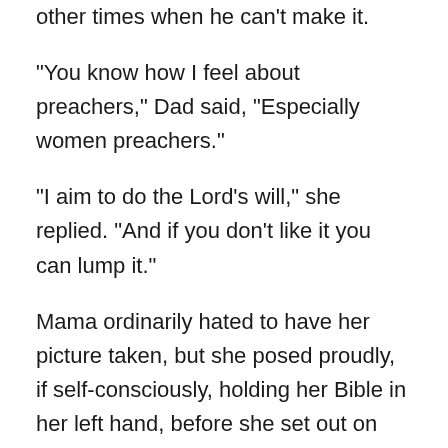other times when he can't make it.
"You know how I feel about preachers," Dad said, "Especially women preachers."
"I aim to do the Lord’s will," she replied. “And if you don’t like it you can lump it.”
Mama ordinarily hated to have her picture taken, but she posed proudly, if self-consciously, holding her Bible in her left hand, before she set out on foot wearing her new ready-made dress on her first preaching assignment. Sallow faced and skinny as a shikepoke, Mama had glistening black hair, hooded eyes, a prominent nose and cheekbones, and a tightly compressed gash of a mouth that betrayed the one-eighth Indian blood she’d inherited from her papa’s full-blooded Creek grandma, Narcissa, an